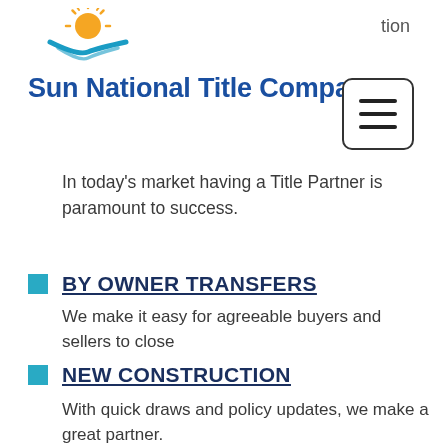[Figure (logo): Sun National Title Company logo with sun and blue swoosh above company name]
tion
Sun National Title Company
[Figure (other): Hamburger menu button with three horizontal lines inside a rounded rectangle border]
In today's market having a Title Partner is paramount to success.
BY OWNER TRANSFERS
We make it easy for agreeable buyers and sellers to close
NEW CONSTRUCTION
With quick draws and policy updates, we make a great partner.